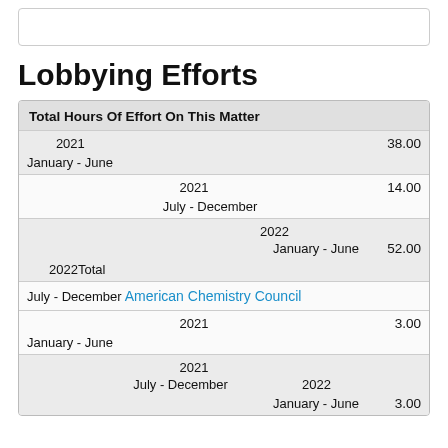Lobbying Efforts
| Total Hours Of Effort On This Matter |  |
| --- | --- |
| 2021
January - June | 38.00 |
| 2021
July - December | 14.00 |
| 2022 |  |
| January - June | 52.00 |
| 2022Total |  |
| July - December  American Chemistry Council |  |
| 2021
January - June | 3.00 |
| 2021
July - December  2022 |  |
| January - June | 3.00 |